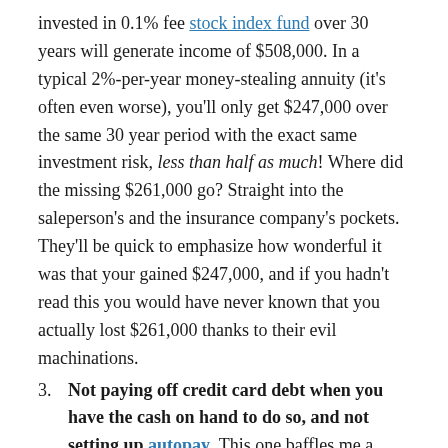invested in 0.1% fee stock index fund over 30 years will generate income of $508,000. In a typical 2%-per-year money-stealing annuity (it's often even worse), you'll only get $247,000 over the same 30 year period with the exact same investment risk, less than half as much! Where did the missing $261,000 go? Straight into the saleperson's and the insurance company's pockets. They'll be quick to emphasize how wonderful it was that your gained $247,000, and if you hadn't read this you would have never known that you actually lost $261,000 thanks to their evil machinations.
3. Not paying off credit card debt when you have the cash on hand to do so, and not setting up autopay. This one baffles me a little since